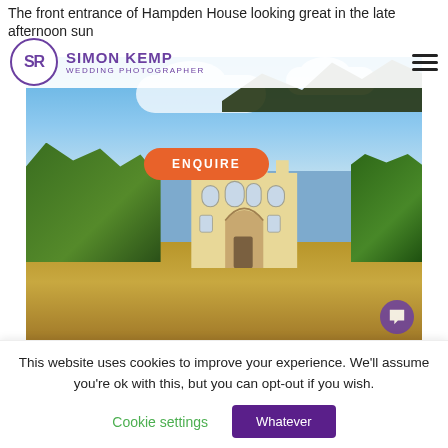The front entrance of Hampden House looking great in the late afternoon sun
SIMON KEMP WEDDING PHOTOGRAPHER
[Figure (photo): Front entrance of Hampden House, a cream-coloured Gothic Revival mansion with battlements, set against a blue sky with clouds, flanked by trees and hedges, with a gravel driveway.]
This website uses cookies to improve your experience. We'll assume you're ok with this, but you can opt-out if you wish.
Cookie settings
Whatever